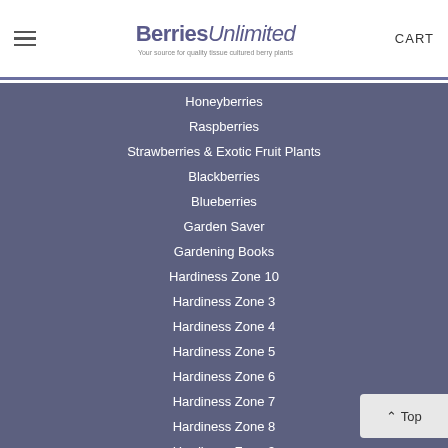Berries Unlimited — Your source for quality tissue cultured berry plants | CART
Honeyberries
Raspberries
Strawberries & Exotic Fruit Plants
Blackberries
Blueberries
Garden Saver
Gardening Books
Hardiness Zone 10
Hardiness Zone 3
Hardiness Zone 4
Hardiness Zone 5
Hardiness Zone 6
Hardiness Zone 7
Hardiness Zone 8
Hardiness Zone 9
Bird Protection Products/Growing Supplies